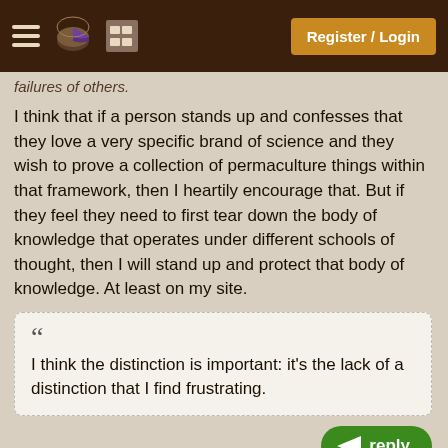Register / Login
failures of others.
I think that if a person stands up and confesses that they love a very specific brand of science and they wish to prove a collection of permaculture things within that framework, then I heartily encourage that. But if they feel they need to first tear down the body of knowledge that operates under different schools of thought, then I will stand up and protect that body of knowledge. At least on my site.
" I think the distinction is important: it's the lack of a distinction that I find frustrating.
In that case, I promise that you will be fru...